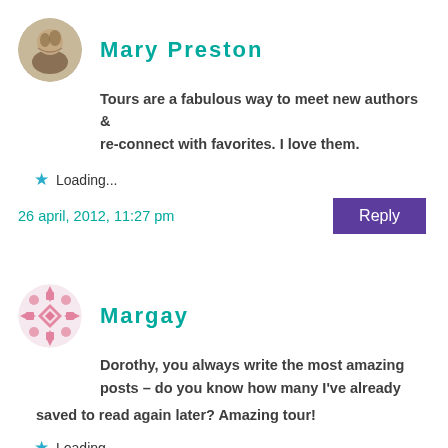Mary Preston
Tours are a fabulous way to meet new authors & re-connect with favorites. I love them.
Loading...
26 april, 2012, 11:27 pm
Reply
Margay
Dorothy, you always write the most amazing posts – do you know how many I've already saved to read again later? Amazing tour!
Loading...
27 april, 2012, 5:54 pm
Reply